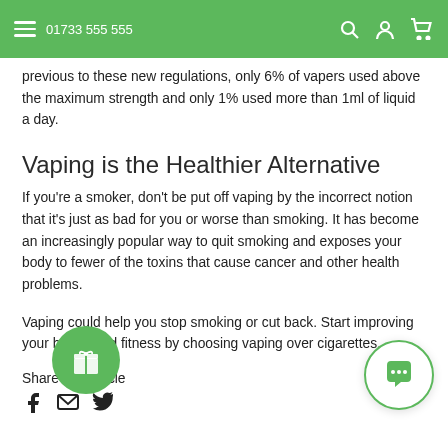01733 555 555
previous to these new regulations, only 6% of vapers used above the maximum strength and only 1% used more than 1ml of liquid a day.
Vaping is the Healthier Alternative
If you're a smoker, don't be put off vaping by the incorrect notion that it's just as bad for you or worse than smoking. It has become an increasingly popular way to quit smoking and exposes your body to fewer of the toxins that cause cancer and other health problems.
Vaping could help you stop smoking or cut back. Start improving your health and fitness by choosing vaping over cigarettes.
Share this Article